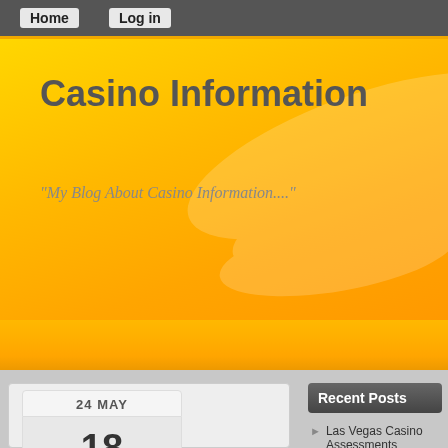Home   Log in
Casino Information
"My Blog About Casino Information..."
Recent Posts
24 MAY
18
Las Vegas Casino Assessments
Web Casino Etiquette